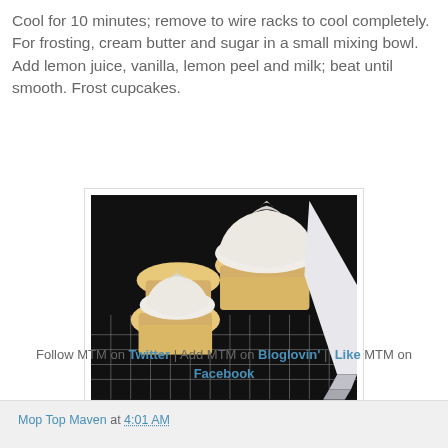Cool for 10 minutes; remove to wire racks to cool completely. For frosting, cream butter and sugar in a small mixing bowl. Add lemon juice, vanilla, lemon peel and milk; beat until smooth. Frost cupcakes.
[Figure (photo): Photo of frosted lemon cupcakes on a wire cooling rack with a white piping bag visible on the right side.]
Follow MTM on Twitter | Add MTM on Bloglovin' | Like MTM on Facebook
Mop Top Maven at 4:01 AM